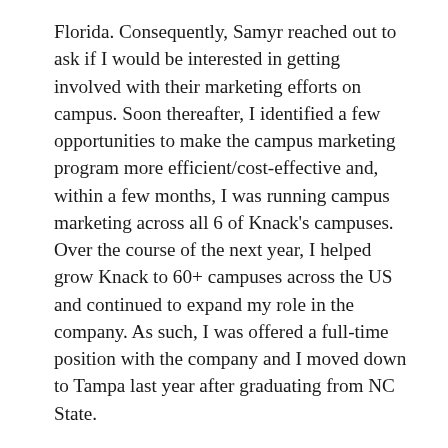Florida. Consequently, Samyr reached out to ask if I would be interested in getting involved with their marketing efforts on campus. Soon thereafter, I identified a few opportunities to make the campus marketing program more efficient/cost-effective and, within a few months, I was running campus marketing across all 6 of Knack's campuses. Over the course of the next year, I helped grow Knack to 60+ campuses across the US and continued to expand my role in the company. As such, I was offered a full-time position with the company and I moved down to Tampa last year after graduating from NC State.
The biggest challenge that I faced early in my career was balancing my time between being in school and working on Knack. This was compounded by my desire to graduate from college in two years, while maintaining a 4.0 GPA. I while Samyr and the rest of the